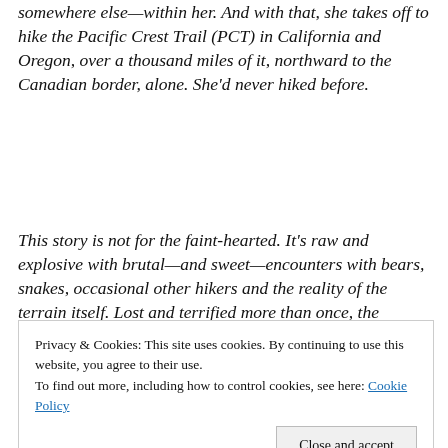somewhere else—within her. And with that, she takes off to hike the Pacific Crest Trail (PCT) in California and Oregon, over a thousand miles of it, northward to the Canadian border, alone. She'd never hiked before.
This story is not for the faint-hearted. It's raw and explosive with brutal—and sweet—encounters with bears, snakes, occasional other hikers and the reality of the terrain itself. Lost and terrified more than once, the experience parallels Strayed's loss and terror over losing her mother.
Privacy & Cookies: This site uses cookies. By continuing to use this website, you agree to their use.
To find out more, including how to control cookies, see here: Cookie Policy
left over for tears. There is the pain from boots that didn't